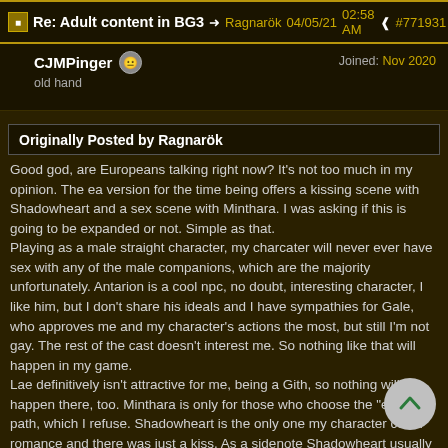Re: Adult content in BG3 → Ragnarök 04/05/21 02:58 AM ← #771931
CJMPinger  old hand  Joined: Nov 2020
Originally Posted by Ragnarök
Good god, are Europeans talking right now? It's not too much in my opinion. The ea version for the time being offers a kissing scene with Shadowheart and a sex scene with Minthara. I was asking if this is going to be expanded or not. Simple as that.
Playing as a male straight character, my charcater will never ever have sex with any of the male companions, which are the majority unfortunately. Antarion is a cool npc, no doubt, interesting character, I like him, but I don't share his ideals and I have sympathies for Gale, who approves me and my character's actions the most, but still I'm not gay. The rest of the cast doesn't interest me. So nothing like that will happen in my game.
Lae definitively isn't attractive for me, being a Gith, so nothing will happen there, too. Minthara is only for those who choose the "evil" path, which I refuse. Shadowheart is the only one my character could romance and there was just a kiss. As a sidenote Shadowheart usually isn't my